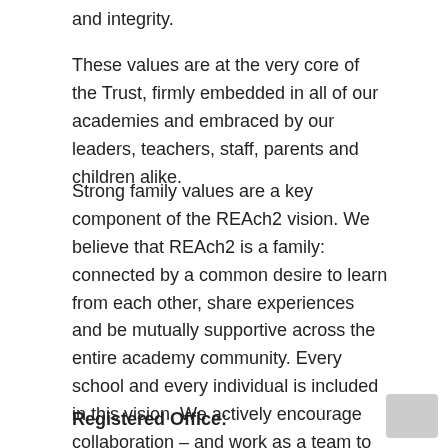and integrity.
These values are at the very core of the Trust, firmly embedded in all of our academies and embraced by our leaders, teachers, staff, parents and children alike.
Strong family values are a key component of the REAch2 vision. We believe that REAch2 is a family: connected by a common desire to learn from each other, share experiences and be mutually supportive across the entire academy community. Every school and every individual is included in this vision. We actively encourage collaboration – and work as a team to create and deliver the best possible educational experiences for every pupil within the REAch2 Trust.
Registered Office: